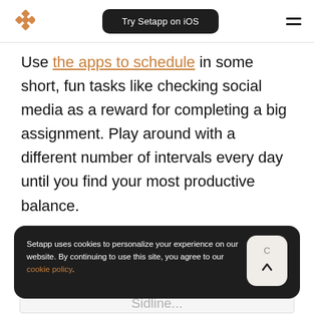[Figure (logo): Setapp diamond/rhombus logo in orange]
Try Setapp on iOS
Use the apps to schedule in some short, fun tasks like checking social media as a reward for completing a big assignment. Play around with a different number of intervals every day until you find your most productive balance.
[Figure (screenshot): Gray placeholder box with partial text 'Sidline...' visible at the bottom]
Setapp uses cookies to personalize your experience on our website. By continuing to use this site, you agree to our cookie policy.